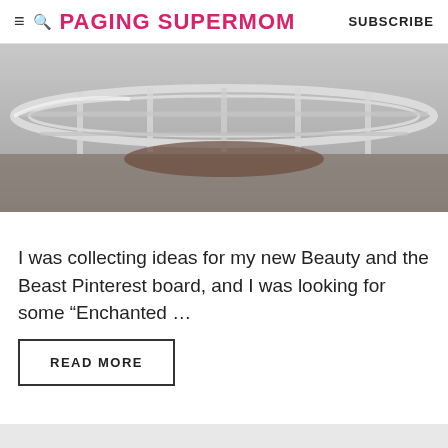≡ 🔍 PAGING SUPERMOM   SUBSCRIBE
[Figure (photo): Close-up photo of a glass bowl or dish with metal wire rack/stand, blurred background, light gray tones]
I was collecting ideas for my new Beauty and the Beast Pinterest board, and I was looking for some “Enchanted …
READ MORE
recipes, valentines